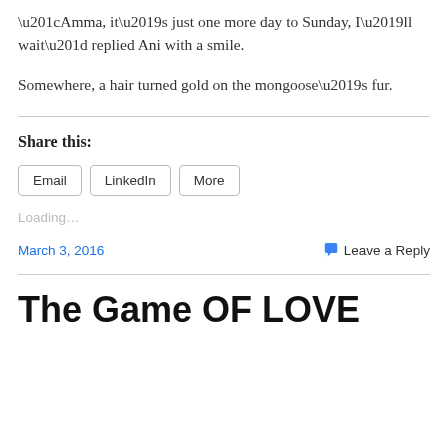“Amma, it’s just one more day to Sunday, I’ll wait” replied Ani with a smile.
Somewhere, a hair turned gold on the mongoose’s fur.
Share this:
Email | LinkedIn | More
Loading…
March 3, 2016    💬 Leave a Reply
The Game OF LOVE